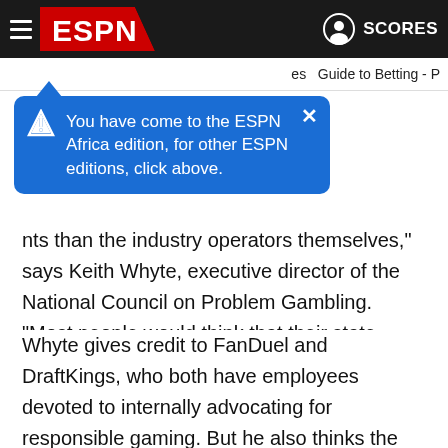[Figure (screenshot): ESPN website top navigation bar with hamburger menu, ESPN logo on red background, user icon and SCORES text on dark background]
[Figure (infographic): Blue tooltip popup with warning diamond icon and X close button reading: You have come to the ESPN Africa edition, for other ESPN editions, click above.]
nts than the industry operators themselves," says Keith Whyte, executive director of the National Council on Problem Gambling. "Most people would think that their state governments are of course there to protect citizens. Frankly that hasn't been the case."
Whyte gives credit to FanDuel and DraftKings, who both have employees devoted to internally advocating for responsible gaming. But he also thinks the future of funding might involve heavy investment from leagues themselves. The NFL recently gave $6.2 million to Whyte and the NPGC, which he can use to boost his staff from nine to 11 employees, beef up ads for what to do if you need help and open up a grant submission process for individual states to apply for their needs.